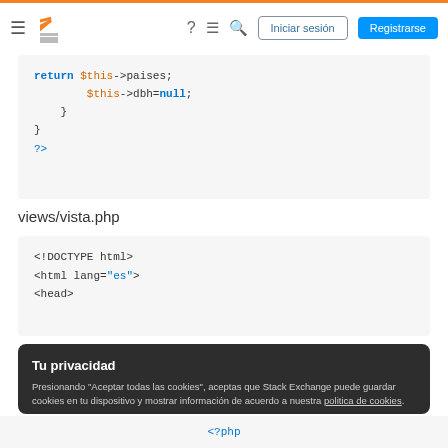Stack Overflow navbar with Iniciar sesión and Registrarse buttons
[Figure (screenshot): PHP code block showing: return $this->paises; $this->dbh=null; } } ?>]
views/vista.php
[Figure (screenshot): HTML code block showing: <!DOCTYPE html> <html lang="es"> <head>]
Tu privacidad
Presionando "Aceptar todas las cookies", aceptas que Stack Exchange puede guardar cookies en tu dispositivo y mostrar información de acuerdo a nuestra politica de cookies.
Aceptar todas las cookies | Personalizar las configuraciones
<?php